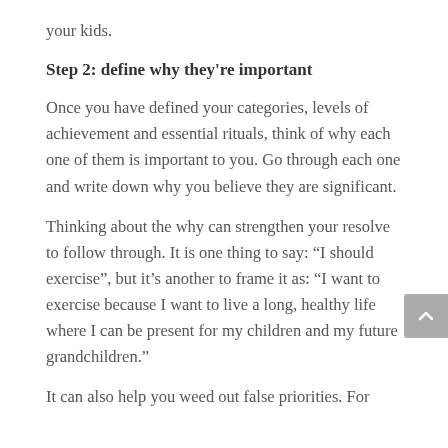your kids.
Step 2: define why they're important
Once you have defined your categories, levels of achievement and essential rituals, think of why each one of them is important to you. Go through each one and write down why you believe they are significant.
Thinking about the why can strengthen your resolve to follow through. It is one thing to say: “I should exercise”, but it’s another to frame it as: “I want to exercise because I want to live a long, healthy life where I can be present for my children and my future grandchildren.”
It can also help you weed out false priorities. For